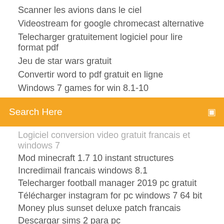Scanner les avions dans le ciel
Videostream for google chromecast alternative
Telecharger gratuitement logiciel pour lire format pdf
Jeu de star wars gratuit
Convertir word to pdf gratuit en ligne
Windows 7 games for win 8.1-10
Search Here
Logiciel conversion video gratuit francais et windows 7
Mod minecraft 1.7 10 instant structures
Incredimail francais windows 8.1
Telecharger football manager 2019 pc gratuit
Télécharger instagram for pc windows 7 64 bit
Money plus sunset deluxe patch francais
Descargar sims 2 para pc
Traducir de español a frances gratis online
Télécharger naruto ultimate ninja storm for android
Fond décran animé transformers
Spiderman friend or foe ps3